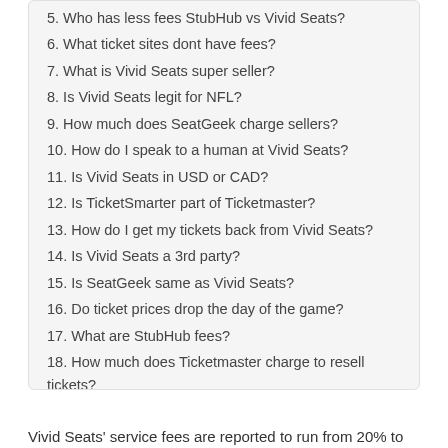5. Who has less fees StubHub vs Vivid Seats?
6. What ticket sites dont have fees?
7. What is Vivid Seats super seller?
8. Is Vivid Seats legit for NFL?
9. How much does SeatGeek charge sellers?
10. How do I speak to a human at Vivid Seats?
11. Is Vivid Seats in USD or CAD?
12. Is TicketSmarter part of Ticketmaster?
13. How do I get my tickets back from Vivid Seats?
14. Is Vivid Seats a 3rd party?
15. Is SeatGeek same as Vivid Seats?
16. Do ticket prices drop the day of the game?
17. What are StubHub fees?
18. How much does Ticketmaster charge to resell tickets?
19. Who is TickPick owned by?
20. How can I get cheaper tickets from Ticketmaster?
21. How much is TickPick worth?
Vivid Seats' service fees are reported to run from 20% to